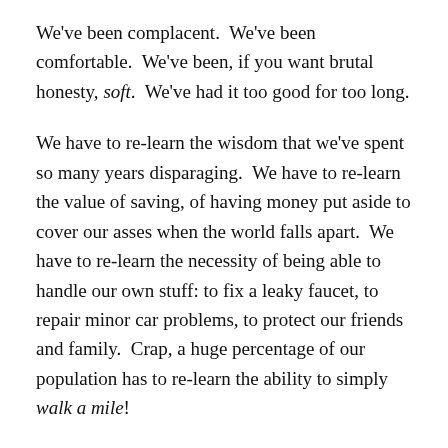We've been complacent.  We've been comfortable.  We've been, if you want brutal honesty, soft.  We've had it too good for too long.
We have to re-learn the wisdom that we've spent so many years disparaging.  We have to re-learn the value of saving, of having money put aside to cover our asses when the world falls apart.  We have to re-learn the necessity of being able to handle our own stuff: to fix a leaky faucet, to repair minor car problems, to protect our friends and family.  Crap, a huge percentage of our population has to re-learn the ability to simply walk a mile!
To be even more gloomy-blunt — for when things really do go to hell — we have to re-learn to forage and hunt, and to survive.  A common isolation joke in my little